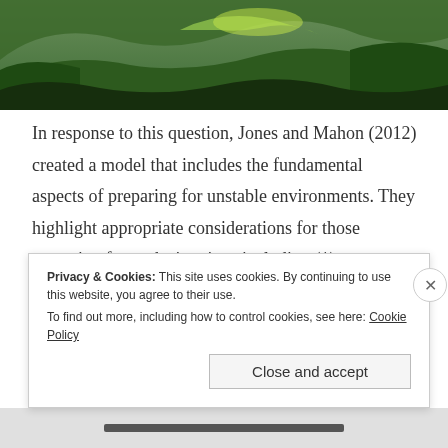[Figure (photo): Aerial/landscape photograph of green forested hills with lush vegetation]
In response to this question, Jones and Mahon (2012) created a model that includes the fundamental aspects of preparing for unstable environments. They highlight appropriate considerations for those preparing for such situations including (1) developing strategic communication plans, (2) considering organizational culture, (3) providing proper training to help people deal with ambiguity, (4) having access to appropriate
Privacy & Cookies: This site uses cookies. By continuing to use this website, you agree to their use.
To find out more, including how to control cookies, see here: Cookie Policy
Close and accept